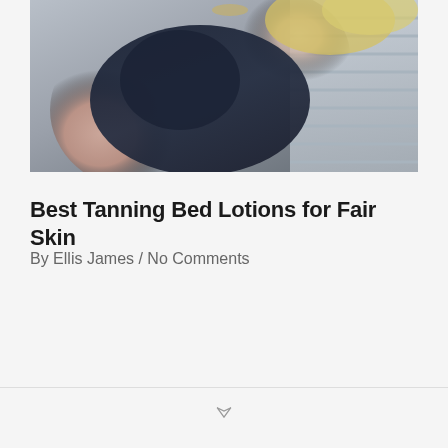[Figure (photo): Partial photo of a person wearing a dark navy swimsuit/bra top, with blonde hair visible, photographed near a window with blinds in the background. The image is cropped showing torso and partial face/head area.]
Best Tanning Bed Lotions for Fair Skin
By Ellis James / No Comments